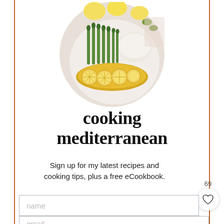[Figure (photo): Circular cropped photo of a plate with lemon-topped fish fillet, steamed asparagus, white rice, and lemon slices on a white marble background]
cooking mediterranean
Sign up for my latest recipes and cooking tips, plus a free eCookbook.
[Figure (other): Badge showing 69 with a heart icon in a white circle, and a teal search button below]
name
email